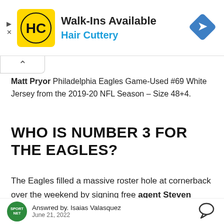[Figure (logo): Hair Cuttery advertisement banner with HC logo, 'Walk-Ins Available' text, 'Hair Cuttery' subtitle in blue, and a navigation/directions diamond icon on the right]
Matt Pryor Philadelphia Eagles Game-Used #69 White Jersey from the 2019-20 NFL Season – Size 48+4.
WHO IS NUMBER 3 FOR THE EAGLES?
The Eagles filled a massive roster hole at cornerback over the weekend by signing free agent Steven Nelson. And while he might be
Answred by. Isaias Valasquez
June 21, 2022